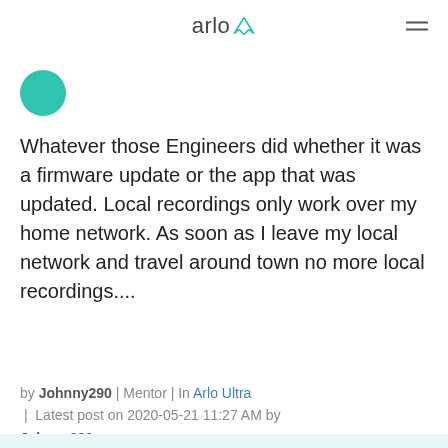arlo
[Figure (illustration): Teal circular avatar/profile picture partially visible at top left]
Whatever those Engineers did whether it was a firmware update or the app that was updated. Local recordings only work over my home network. As soon as I leave my local network and travel around town no more local recordings....
by Johnny290 | Mentor | In Arlo Ultra | Latest post on 2020-05-21 11:27 AM by Johnny290
0   10   634